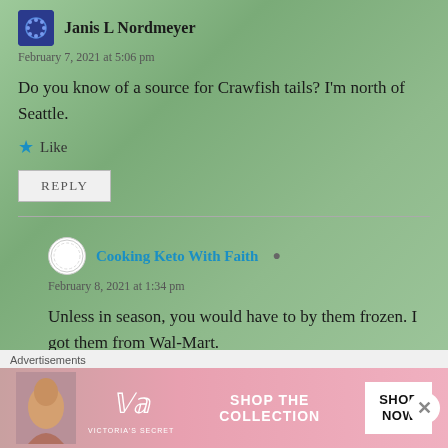Janis L Nordmeyer
February 7, 2021 at 5:06 pm
Do you know of a source for Crawfish tails? I'm north of Seattle.
Like
REPLY
Cooking Keto With Faith
February 8, 2021 at 1:34 pm
Unless in season, you would have to by them frozen. I got them from Wal-Mart.
Advertisements
[Figure (other): Victoria's Secret advertisement banner with model and 'SHOP THE COLLECTION / SHOP NOW' text]